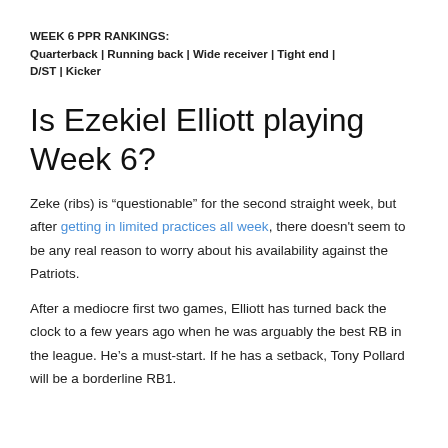WEEK 6 PPR RANKINGS:
Quarterback | Running back | Wide receiver | Tight end | D/ST | Kicker
Is Ezekiel Elliott playing Week 6?
Zeke (ribs) is “questionable” for the second straight week, but after getting in limited practices all week, there doesn't seem to be any real reason to worry about his availability against the Patriots.
After a mediocre first two games, Elliott has turned back the clock to a few years ago when he was arguably the best RB in the league. He’s a must-start. If he has a setback, Tony Pollard will be a borderline RB1.